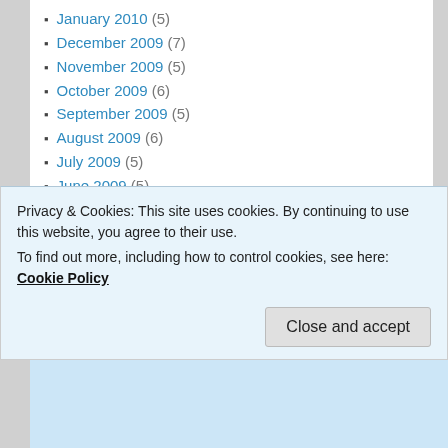January 2010 (5)
December 2009 (7)
November 2009 (5)
October 2009 (6)
September 2009 (5)
August 2009 (6)
July 2009 (5)
June 2009 (5)
May 2009 (5)
April 2009 (13)
March 2009 (8)
February 2009 (15)
January 2009 (31)
December 2008 (25)
Privacy & Cookies: This site uses cookies. By continuing to use this website, you agree to their use. To find out more, including how to control cookies, see here: Cookie Policy